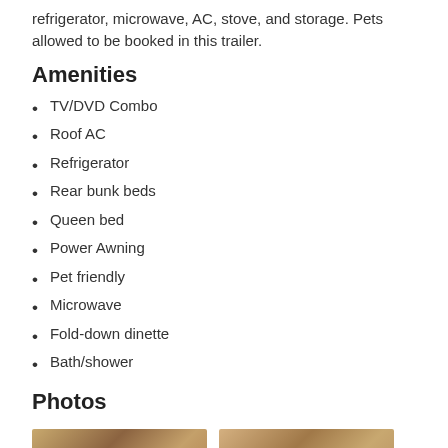refrigerator, microwave, AC, stove, and storage. Pets allowed to be booked in this trailer.
Amenities
TV/DVD Combo
Roof AC
Refrigerator
Rear bunk beds
Queen bed
Power Awning
Pet friendly
Microwave
Fold-down dinette
Bath/shower
Photos
[Figure (photo): Interior photo of trailer]
[Figure (photo): Interior photo of trailer]